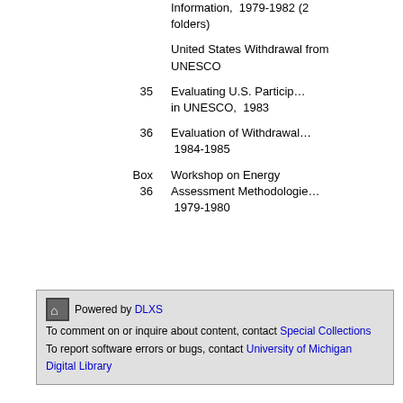Information,  1979-1982 (2 folders)
United States Withdrawal from UNESCO
35   Evaluating U.S. Participation in UNESCO,  1983
36   Evaluation of Withdrawal,  1984-1985
Box 36   Workshop on Energy Assessment Methodologies,  1979-1980
Powered by DLXS  To comment on or inquire about content, contact Special Collections  To report software errors or bugs, contact University of Michigan Digital Library